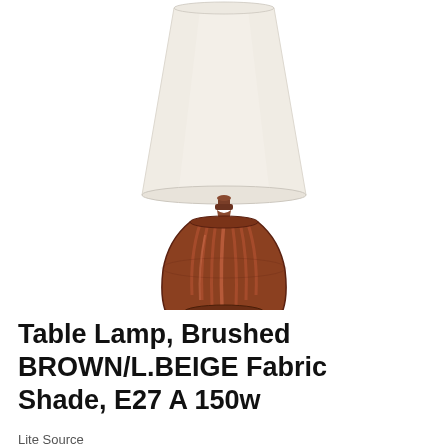[Figure (photo): A table lamp with a brushed brown ribbed urn-shaped base and a light beige fabric shade, sitting on a square dark brown pedestal base, photographed on a white background.]
Table Lamp, Brushed BROWN/L.BEIGE Fabric Shade, E27 A 150w
Lite Source